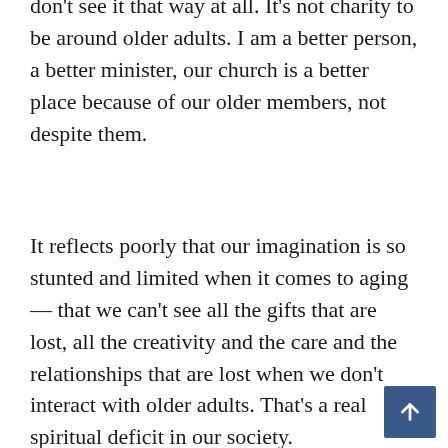don't see it that way at all. It's not charity to be around older adults. I am a better person, a better minister, our church is a better place because of our older members, not despite them.
It reflects poorly that our imagination is so stunted and limited when it comes to aging — that we can't see all the gifts that are lost, all the creativity and the care and the relationships that are lost when we don't interact with older adults. That's a real spiritual deficit in our society.